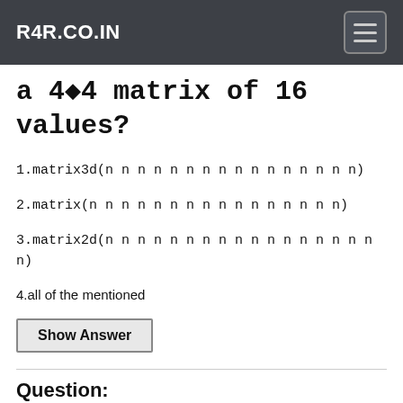R4R.CO.IN
a 4×4 matrix of 16 values?
1.matrix3d(n n n n n n n n n n n n n n n n)
2.matrix(n n n n n n n n n n n n n n n n)
3.matrix2d(n n n n n n n n n n n n n n n n n n)
4.all of the mentioned
Show Answer
Question:
Which of the following transform property